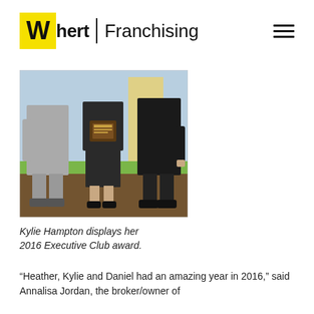Whert | Franchising
[Figure (photo): Three people standing together, the person in the middle (a woman in dark clothing) holding a plaque award. Background shows a decorative scene with blue sky and green grass. The people on the sides are wearing suits.]
Kylie Hampton displays her 2016 Executive Club award.
“Heather, Kylie and Daniel had an amazing year in 2016,” said Annalisa Jordan, the broker/owner of